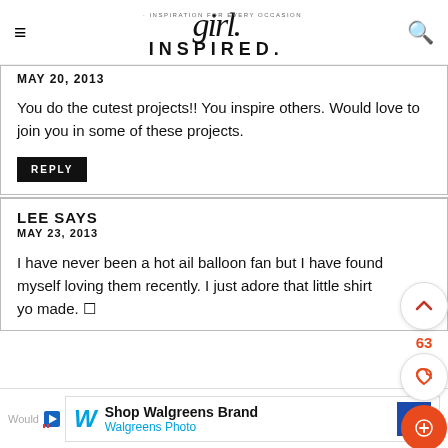girl. INSPIRATION FOR EVERY OCCASION INSPIRED.
MAY 20, 2013
You do the cutest projects!! You inspire others. Would love to join you in some of these projects.
REPLY
LEE SAYS
MAY 23, 2013
I have never been a hot ail balloon fan but I have found myself loving them recently. I just adore that little shirt you made. 🙂
[Figure (screenshot): Walgreens Brand Walgreens Photo advertisement banner at bottom of page]